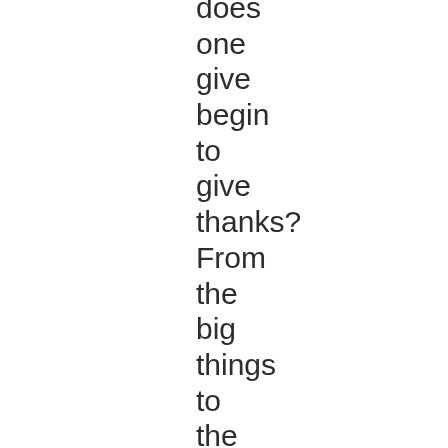does one give begin to give thanks? From the big things to the little details